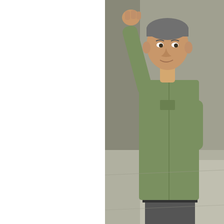[Figure (photo): Man in green shirt seated in wheelchair, raising one arm, photographed outdoors on a concrete surface.]
Dick Cleveland injured himself on Election Day but rallied in the second most votes and wind up mayor. Way to take the team.
By David O. Williams
pizza, Burton, Quiksilver and Patagonia store
Arrabelle was the big-ticket item as far as new facilities at the bottom of the Vista Bahn chai 14), but Beaver Creek was busy catching gon
The resort that for 25 years defined and refine two in one season in December, officially lau Riverfront Resort & Spa in Avon to Beaver C Buckaroo Express (from the Hyatt in Beaver